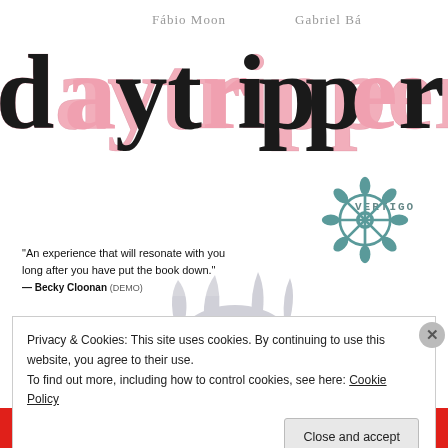[Figure (illustration): Book cover of 'Daytripper' by Fábio Moon and Gabriel Bá, published by Vertigo. Cover shows an elderly man with wild white hair surrounded by decorative floral/snowflake patterns in teal, with scattered pink petals. Large stylized pink and black 'daytripper' title text at top. Authors names in gray above title. Vertigo logo at right.]
"An experience that will resonate with you long after you have put the book down."
— Becky Cloonan (DEMO)
Privacy & Cookies: This site uses cookies. By continuing to use this website, you agree to their use.
To find out more, including how to control cookies, see here: Cookie Policy
Close and accept
email with more privacy.